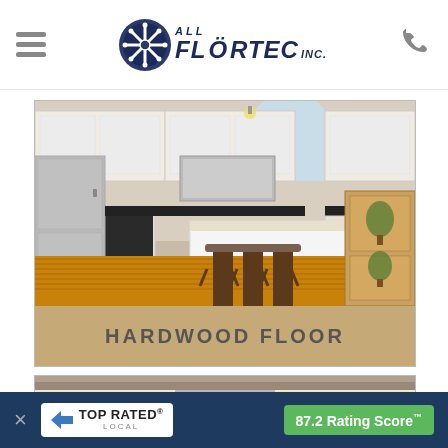All Flörtec Inc. — navigation header with hamburger menu and phone icon
[Figure (photo): Kitchen interior with hardwood floor, white cabinets, stainless steel appliances, and bar stools at a kitchen island. Labeled 'HARDWOOD FLOOR'.]
[Figure (photo): Partial view of kitchen cabinets in cream/antique white with dark hardware and granite countertop.]
TOP RATED LOCAL — 87.2 Rating Score™